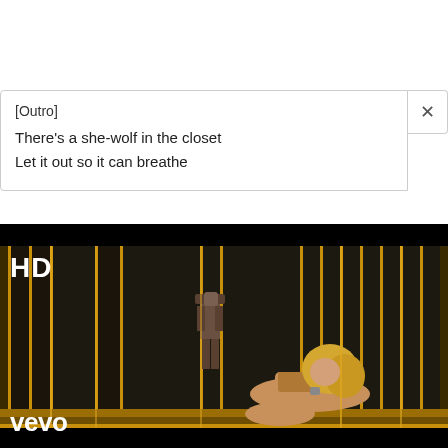[Outro]
There's a she-wolf in the closet
Let it out so it can breathe
[Figure (screenshot): Music video screenshot showing a blonde woman posing on the floor inside a gold cage-like set with vertical gold bars, with a robot figure visible in the background. HD badge in top-left corner, Vevo logo in bottom-left corner. Dark/black background.]